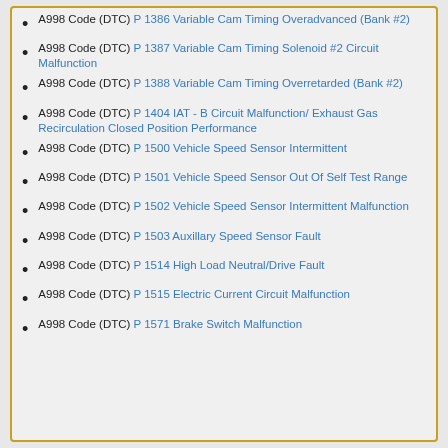A998 Code (DTC) P1386 Variable Cam Timing Overadvanced (Bank #2)
A998 Code (DTC) P1387 Variable Cam Timing Solenoid #2 Circuit Malfunction
A998 Code (DTC) P1388 Variable Cam Timing Overretarded (Bank #2)
A998 Code (DTC) P1404 IAT - B Circuit Malfunction/ Exhaust Gas Recirculation Closed Position Performance
A998 Code (DTC) P1500 Vehicle Speed Sensor Intermittent
A998 Code (DTC) P1501 Vehicle Speed Sensor Out Of Self Test Range
A998 Code (DTC) P1502 Vehicle Speed Sensor Intermittent Malfunction
A998 Code (DTC) P1503 Auxillary Speed Sensor Fault
A998 Code (DTC) P1514 High Load Neutral/Drive Fault
A998 Code (DTC) P1515 Electric Current Circuit Malfunction
A998 Code (DTC) P1571 Brake Switch Malfunction